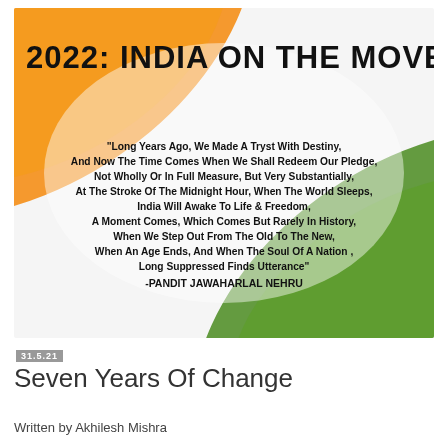[Figure (illustration): Decorative background image with Indian tricolor diagonal swooshes (saffron/orange top-left, white center, green bottom-right) with bold title '2022: INDIA ON THE MOVE' and a Nehru quote in bold black text on the image.]
31.5.21
Seven Years Of Change
Written by Akhilesh Mishra